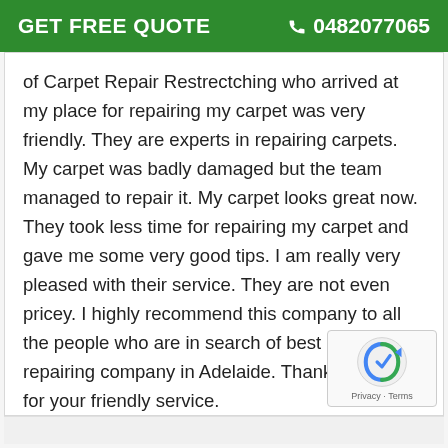GET FREE QUOTE   0482077065
of Carpet Repair Restrectching who arrived at my place for repairing my carpet was very friendly. They are experts in repairing carpets. My carpet was badly damaged but the team managed to repair it. My carpet looks great now. They took less time for repairing my carpet and gave me some very good tips. I am really very pleased with their service. They are not even pricey. I highly recommend this company to all the people who are in search of best carpet repairing company in Adelaide. Thank you guys for your friendly service.
[Figure (logo): reCAPTCHA logo with Privacy - Terms text]